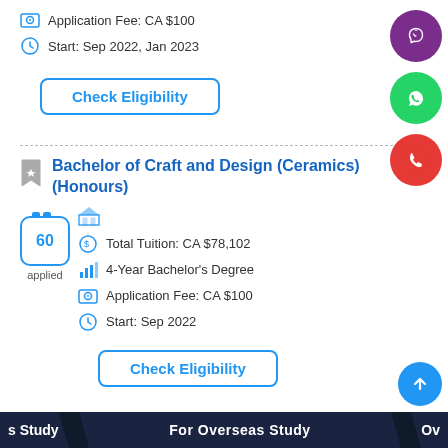Application Fee: CA $100
Start: Sep 2022, Jan 2023
Check Eligibility
Bachelor of Craft and Design (Ceramics) (Honours)
Total Tuition: CA $78,102
4-Year Bachelor's Degree
Application Fee: CA $100
Start: Sep 2022
Check Eligibility
60 applied
s Study   For Overseas Study   Ov